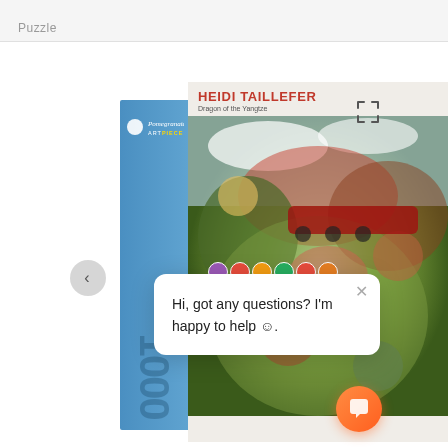Puzzle
[Figure (photo): Product photo of Pomegranate Artpiece Puzzle box showing 'HEIDI TAILLEFER Dragon of the Yangtze' with colorful fantasy artwork on the front panel. Blue spine with Pomegranate branding and 1000 piece indicator.]
Hi, got any questions? I'm happy to help 🙂.